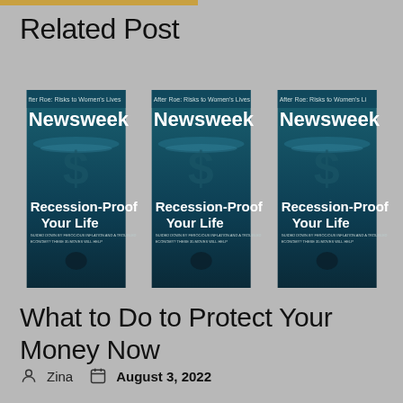Related Post
[Figure (photo): Three Newsweek magazine covers showing 'Recession-Proof Your Life' with 'After Roe: Risks to Women's Lives' subheading, featuring a dollar sign sinking underwater]
What to Do to Protect Your Money Now
Zina   August 3, 2022